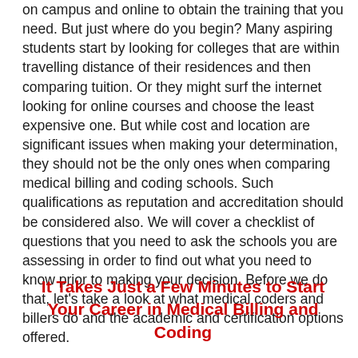on campus and online to obtain the training that you need. But just where do you begin? Many aspiring students start by looking for colleges that are within travelling distance of their residences and then comparing tuition. Or they might surf the internet looking for online courses and choose the least expensive one. But while cost and location are significant issues when making your determination, they should not be the only ones when comparing medical billing and coding schools. Such qualifications as reputation and accreditation should be considered also. We will cover a checklist of questions that you need to ask the schools you are assessing in order to find out what you need to know prior to making your decision. Before we do that, let's take a look at what medical coders and billers do and the academic and certification options offered.
It Takes Just a Few Minutes to Start Your Career in Medical Billing and Coding